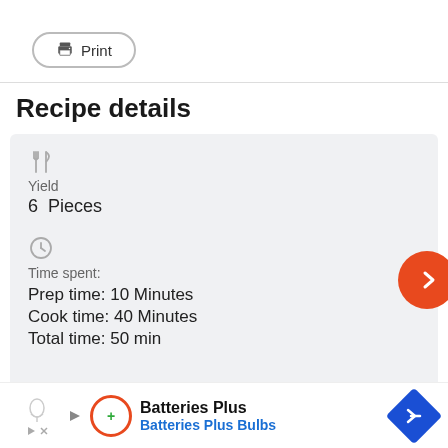[Figure (other): Print button with printer icon and rounded border]
Recipe details
Yield
6  Pieces
Time spent:
Prep time: 10 Minutes
Cook time: 40 Minutes
Total time: 50 min
[Figure (other): Advertisement bar for Batteries Plus / Batteries Plus Bulbs with logo, navigation arrow icon, and ad/close icons]